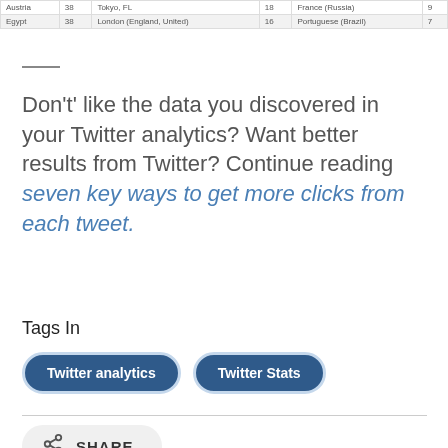|  |  |  |  |  |  |
| --- | --- | --- | --- | --- | --- |
| Austria | 38 | Tokyo, FL | 18 | France (Russia) | 9 |
| Egypt | 38 | London (England, United) | 16 | Portuguese (Brazil) | 7 |
Don't' like the data you discovered in your Twitter analytics? Want better results from Twitter? Continue reading seven key ways to get more clicks from each tweet.
Tags In
Twitter analytics | Twitter Stats
SHARE